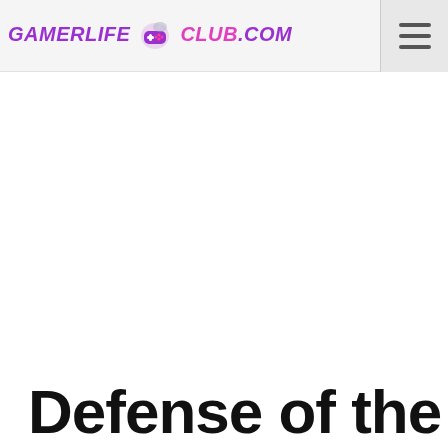GAMERLIFE CLUB.COM — navigation header with logo and hamburger menu
Defense of the